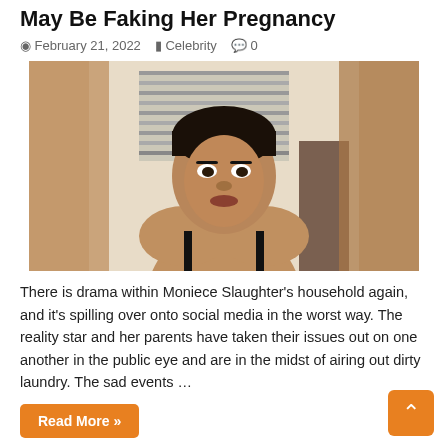May Be Faking Her Pregnancy
February 21, 2022   Celebrity   0
[Figure (photo): Close-up selfie of a woman with short dark hair, wearing a black spaghetti-strap top, with blurred edges on left and right sides, taken in what appears to be a hotel room or bedroom with window blinds in background.]
There is drama within Moniece Slaughter’s household again, and it’s spilling over onto social media in the worst way. The reality star and her parents have taken their issues out on one another in the public eye and are in the midst of airing out dirty laundry. The sad events …
Read More »
Are Nick Cannon’s Baby Mothers Sister